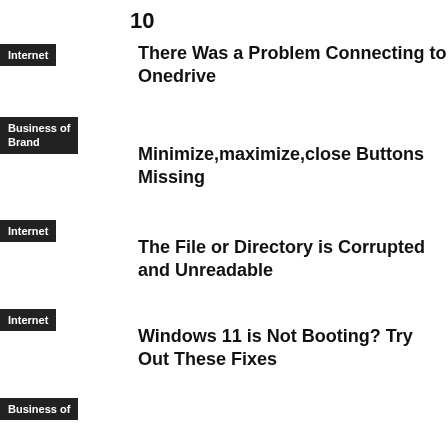10
Internet
There Was a Problem Connecting to Onedrive
Business of Brand
Minimize,maximize,close Buttons Missing
Internet
The File or Directory is Corrupted and Unreadable
Internet
Windows 11 is Not Booting? Try Out These Fixes
Business of